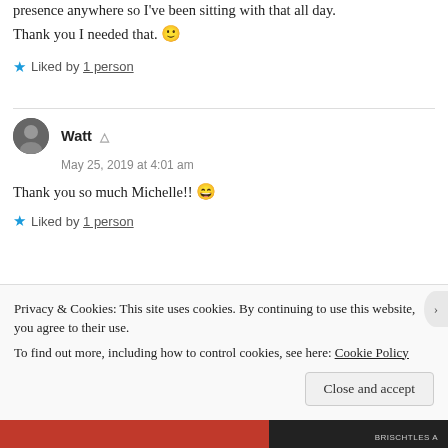presence anywhere so I've been sitting with that all day. Thank you I needed that. 🙂
★ Liked by 1 person
Watt
May 25, 2019 at 4:01 am
Thank you so much Michelle!! 😄
★ Liked by 1 person
Privacy & Cookies: This site uses cookies. By continuing to use this website, you agree to their use.
To find out more, including how to control cookies, see here: Cookie Policy
Close and accept